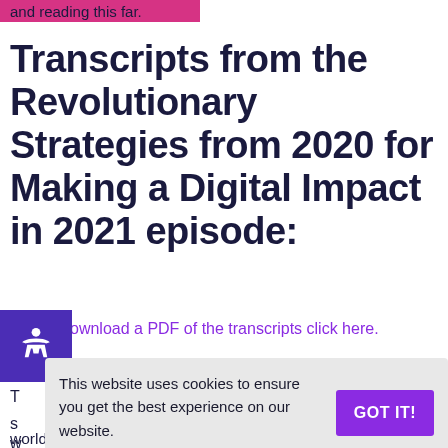and reading this far.
Transcripts from the Revolutionary Strategies from 2020 for Making a Digital Impact in 2021 episode:
Download a PDF of the transcripts click here.
This website uses cookies to ensure you get the best experience on our website. Learn more
world writ large in a different way would be a